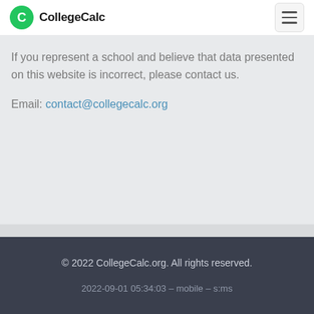CollegeCalc
If you represent a school and believe that data presented on this website is incorrect, please contact us.
Email: contact@collegecalc.org
© 2022 CollegeCalc.org. All rights reserved.
2022-09-01 05:34:03 – mobile – s:ms